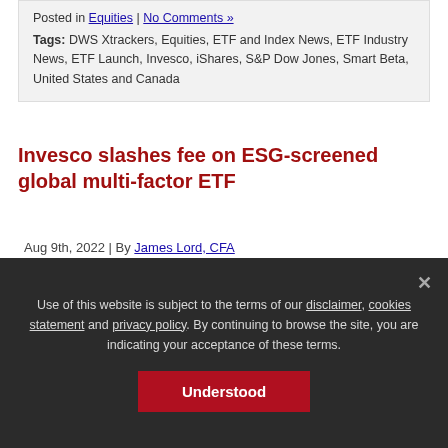Posted in Equities | No Comments »
Tags: DWS Xtrackers, Equities, ETF and Index News, ETF Industry News, ETF Launch, Invesco, iShares, S&P Dow Jones, Smart Beta, United States and Canada
Invesco slashes fee on ESG-screened global multi-factor ETF
Aug 9th, 2022 | By James Lord, CFA
Invesco has halved the fee charged by its
Use of this website is subject to the terms of our disclaimer, cookies statement and privacy policy. By continuing to browse the site, you are indicating your acceptance of these terms.
Understood